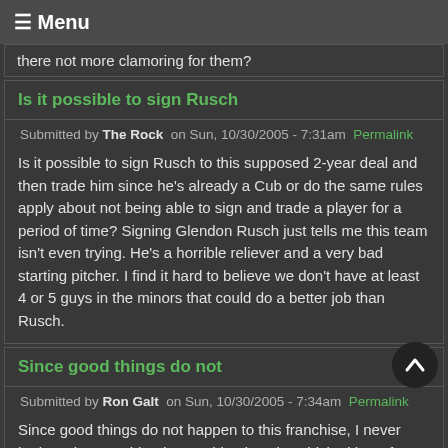≡ Menu
there not more clamoring for them?
Is it possible to sign Rusch
Submitted by The Rock on Sun, 10/30/2005 - 7:31am Permalink
Is it possible to sign Rusch to this supposed 2-year deal and then trade him since he's already a Cub or do the same rules apply about not being able to sign and trade a player for a period of time? Signing Glendon Rusch just tells me this team isn't even trying. He's a horrible reliever and a very bad starting pitcher. I find it hard to believe we don't have at least 4 or 5 guys in the minors that could do a better job than Rusch.
Since good things do not
Submitted by Ron Galt on Sun, 10/30/2005 - 7:34am Permalink
Since good things do not happen to this franchise, I never bothered to consider the machinations by which either of them would end up here.
I would love either Epstein